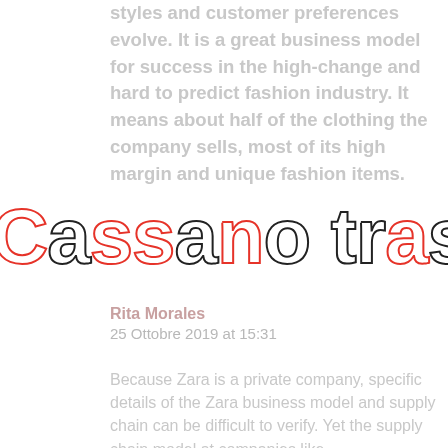styles and customer preferences evolve. It is a great business model for success in the high-change and hard to predict fashion industry. It means about half of the clothing the company sells, most of its high margin and unique fashion items.
Cassano trasporti
Rita Morales
25 Ottobre 2019 at 15:31
Because Zara is a private company, specific details of the Zara business model and supply chain can be difficult to verify. Yet the supply chain model at companies like